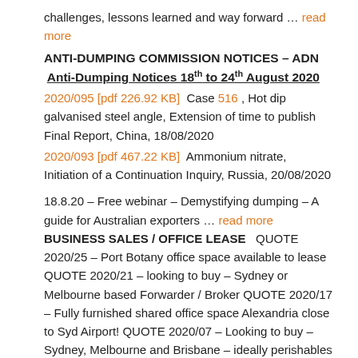challenges, lessons learned and way forward … read more
ANTI-DUMPING COMMISSION NOTICES – ADN  Anti-Dumping Notices 18th to 24th August 2020
2020/095 [pdf 226.92 KB]  Case 516 , Hot dip galvanised steel angle, Extension of time to publish Final Report, China, 18/08/2020
2020/093 [pdf 467.22 KB]  Ammonium nitrate, Initiation of a Continuation Inquiry, Russia, 20/08/2020
18.8.20 – Free webinar – Demystifying dumping – A guide for Australian exporters … read more   BUSINESS SALES / OFFICE LEASE   QUOTE 2020/25 – Port Botany office space available to lease QUOTE 2020/21 – looking to buy – Sydney or Melbourne based Forwarder / Broker QUOTE 2020/17 – Fully furnished shared office space Alexandria close to Syd Airport! QUOTE 2020/07 – Looking to buy – Sydney, Melbourne and Brisbane – ideally perishables QUOTE 2019/05 – Looking to buy – Melbourne, Adelaide or Fremantle Perth More about our